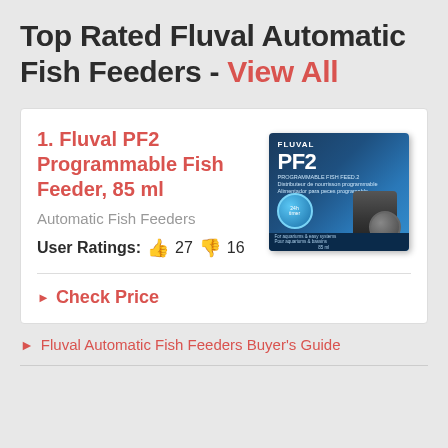Top Rated Fluval Automatic Fish Feeders - View All
1. Fluval PF2 Programmable Fish Feeder, 85 ml — Automatic Fish Feeders — User Ratings: 👍 27 👎 16 — Check Price
Fluval Automatic Fish Feeders Buyer's Guide